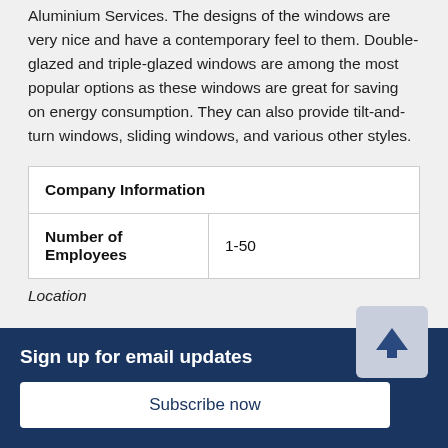Aluminium Services. The designs of the windows are very nice and have a contemporary feel to them. Double-glazed and triple-glazed windows are among the most popular options as these windows are great for saving on energy consumption. They can also provide tilt-and-turn windows, sliding windows, and various other styles.
| Company Information |
| --- |
| Number of Employees | 1-50 |
Location
Sign up for email updates
Subscribe now